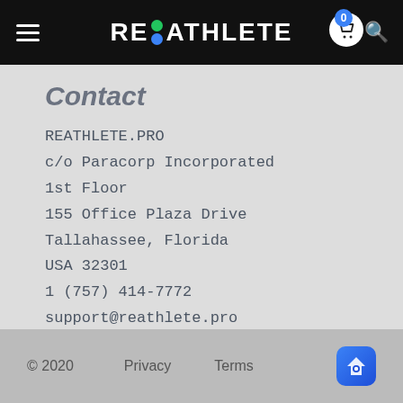REATHLETE (logo with green and blue dots)
Contact
REATHLETE.PRO
c/o Paracorp Incorporated
1st Floor
155 Office Plaza Drive
Tallahassee, Florida
USA 32301
1 (757) 414-7772
support@reathlete.pro
[Figure (illustration): US flag illustration]
© 2020    Privacy    Terms